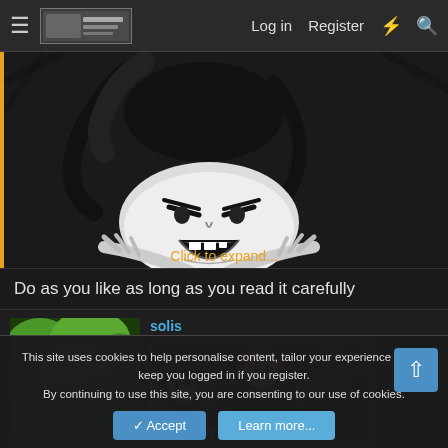Log in  Register
[Figure (illustration): Manga/anime style black and white illustration of a monstrous face with dark tentacles or hair, screaming or roaring]
Click to expand...
Do as you like as long as you read it carefully
solis
[Figure (photo): Nature photo showing green foliage and a stream]
[Figure (illustration): Anime character with red hair in black coat, bounty poster style card showing $4,048,900,000]
This site uses cookies to help personalise content, tailor your experience and to keep you logged in if you register.
By continuing to use this site, you are consenting to our use of cookies.
Accept  Learn more...